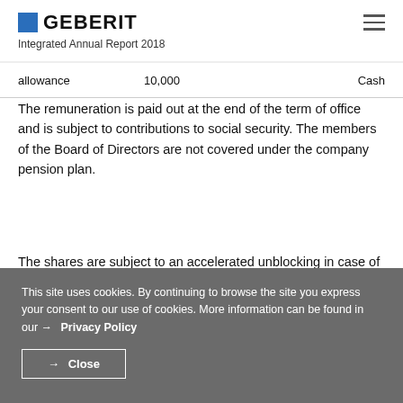GEBERIT Integrated Annual Report 2018
| allowance | 10,000 | Cash |
| --- | --- | --- |
The remuneration is paid out at the end of the term of office and is subject to contributions to social security. The members of the Board of Directors are not covered under the company pension plan.
The shares are subject to an accelerated unblocking in case of
This site uses cookies. By continuing to browse the site you express your consent to our use of cookies. More information can be found in our → Privacy Policy
→ Close